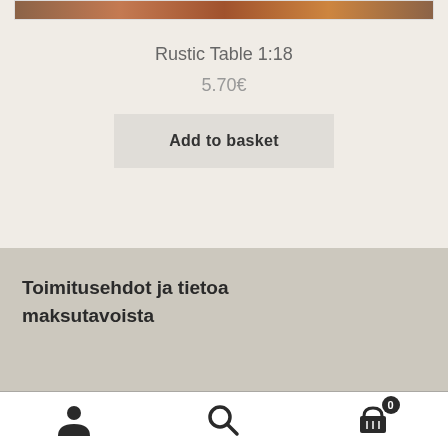[Figure (photo): Product image of Rustic Table 1:18, showing a cropped reddish-brown rustic surface]
Rustic Table 1:18
5.70€
Add to basket
Toimitusehdot ja tietoa maksutavoista
Navigation bar with person icon, search icon, and cart icon with badge 0